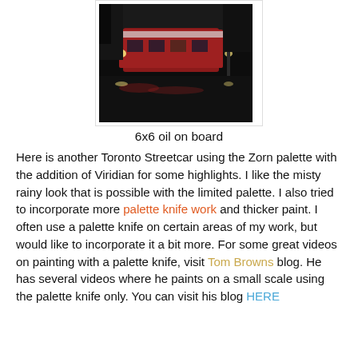[Figure (photo): A dark, impressionistic oil painting of a Toronto streetcar on a rainy night, with reflections on the wet pavement and city lights.]
6x6 oil on board
Here is another Toronto Streetcar using the Zorn palette with the addition of Viridian for some highlights. I like the misty rainy look that is possible with the limited palette. I also tried to incorporate more palette knife work and thicker paint. I often use a palette knife on certain areas of my work, but would like to incorporate it a bit more. For some great videos on painting with a palette knife, visit Tom Browns blog. He has several videos where he paints on a small scale using the palette knife only. You can visit his blog HERE